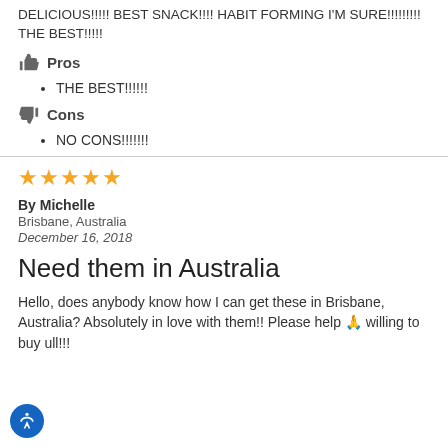DELICIOUS!!!!! BEST SNACK!!!! HABIT FORMING I'M SURE!!!!!!!!! THE BEST!!!!!
Pros
THE BEST!!!!!!
Cons
NO CONS!!!!!!!
By Michelle
Brisbane, Australia
December 16, 2018
Need them in Australia
Hello, does anybody know how I can get these in Brisbane, Australia? Absolutely in love with them!! Please help 🙏 willing to buy ull!!!